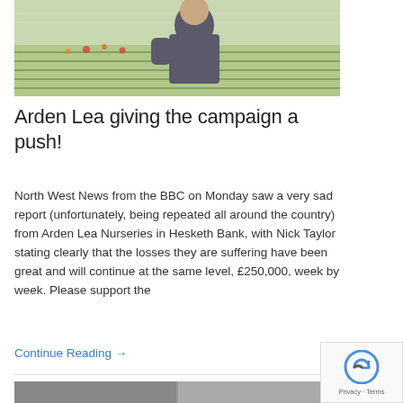[Figure (photo): Man in grey polo shirt standing in front of greenhouse flower nursery rows]
Arden Lea giving the campaign a push!
North West News from the BBC on Monday saw a very sad report (unfortunately, being repeated all around the country) from Arden Lea Nurseries in Hesketh Bank, with Nick Taylor stating clearly that the losses they are suffering have been great and will continue at the same level, £250,000, week by week. Please support the
Continue Reading →
[Figure (photo): Partial view of another article photo at bottom]